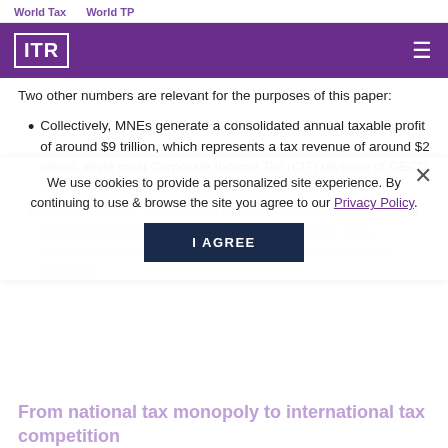World Tax    World TP
[Figure (logo): ITR logo in white on purple background with hamburger menu icon]
Two other numbers are relevant for the purposes of this paper:
Collectively, MNEs generate a consolidated annual taxable profit of around $9 trillion, which represents a tax revenue of around $2 trillion, while most Corporate Income Tax (CIT) revenue of OECD countries actually comes from MNEs;
In a normal year, MNEs make foreign direct investment (FDI) of around $1.5 trillion, but for developing economies, such investments represent up to 40% of their total gross capital formation.
We use cookies to provide a personalized site experience. By continuing to use & browse the site you agree to our Privacy Policy.
From national tax monopoly to international tax competition